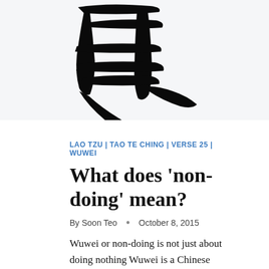[Figure (illustration): Large black Chinese calligraphy characters (wuwei 無為) on white background, partially cropped at top]
LAO TZU | TAO TE CHING | VERSE 25 | WUWEI
What does 'non-doing' mean?
By Soon Teo  •  October 8, 2015
Wuwei or non-doing is not just about doing nothing Wuwei is a Chinese word, written as 无为 in simplified Chinese, and 無為 in traditional Chinese. It is a key concept of Taoism, and the